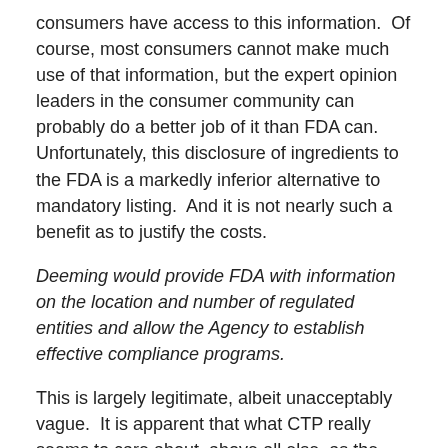consumers have access to this information.  Of course, most consumers cannot make much use of that information, but the expert opinion leaders in the consumer community can probably do a better job of it than FDA can.  Unfortunately, this disclosure of ingredients to the FDA is a markedly inferior alternative to mandatory listing.  And it is not nearly such a benefit as to justify the costs.
Deeming would provide FDA with information on the location and number of regulated entities and allow the Agency to establish effective compliance programs.
This is largely legitimate, albeit unacceptably vague.  It is apparent that what CTP really seems to care about, above all else, as the justification for this regulation, is their desperation to be able to inspect and shut down a